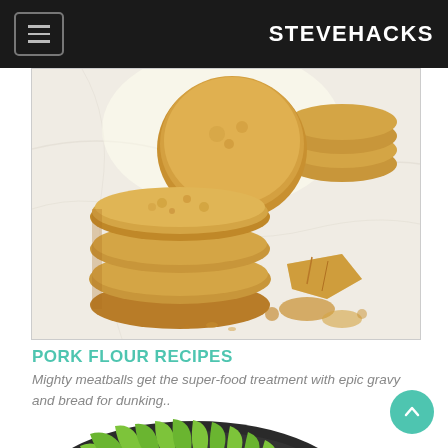STEVEHACKS
[Figure (photo): Photo of stacked golden sugar/snickerdoodle cookies on a marble surface, some broken pieces visible]
PORK FLOUR RECIPES
Mighty meatballs get the super-food treatment with epic gravy and bread for dunking..
[Figure (illustration): Partial illustration of a dark plate with green leafy vegetables, an orange/carrot element, and red element - a salad or vegetable dish]